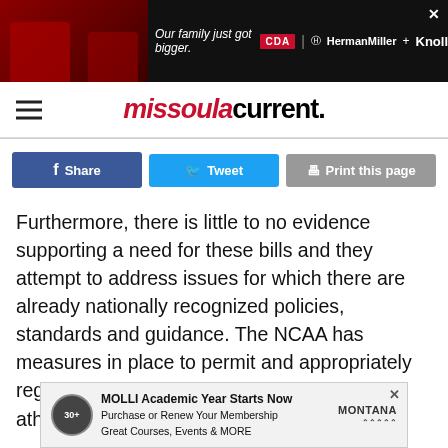[Figure (other): Top advertisement banner with dark background showing 'Our family just got bigger.' with CDA, HermanMiller + Knoll logos]
missoulacurrent.
[Figure (other): Social sharing buttons: Facebook Share, Tweet, Print this page]
Furthermore, there is little to no evidence supporting a need for these bills and they attempt to address issues for which there are already nationally recognized policies, standards and guidance. The NCAA has measures in place to permit and appropriately regulate the participation of transgender athletes in competitions
[Figure (other): Bottom advertisement for MOLLI Academic Year: 'MOLLI Academic Year Starts Now — Purchase or Renew Your Membership — Great Courses, Events & MORE' with Montana logo]